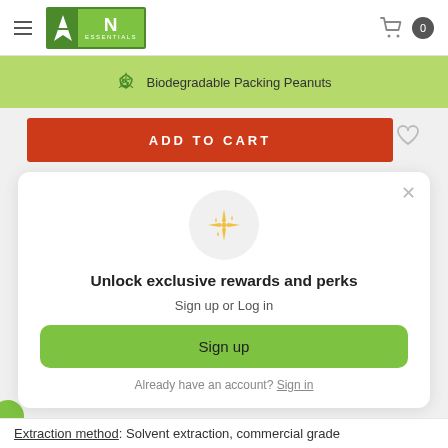[Figure (logo): UN Essentials brand logo with green U and N letters]
Biodegradable Packing Peanuts
ADD TO CART
Unlock exclusive rewards and perks
Sign up or Log in
Sign up
Already have an account? Sign in
Extraction method: Solvent extraction, commercial grade